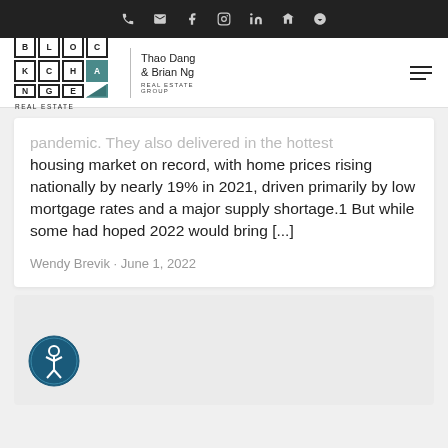BlockChange Real Estate — Thao Dang & Brian Ng Real Estate Group — navigation bar
pandemic. They also delivered in the hottest housing market on record, with home prices rising nationally by nearly 19% in 2021, driven primarily by low mortgage rates and a major supply shortage.1 But while some had hoped 2022 would bring [...]
Wendy Brevik · June 1, 2022